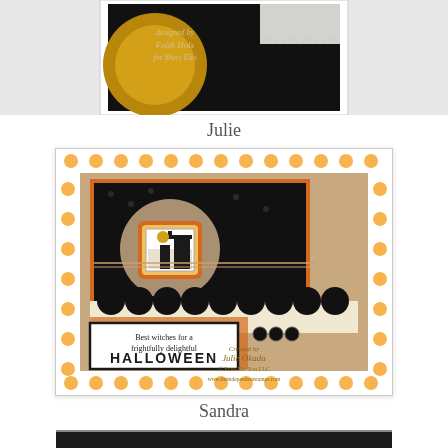[Figure (photo): Top portion of a Halloween craft card with black background, gold pumpkin, lace border, and cursive text 'designed by Faith Hols for Sheri Elio']
Julie
[Figure (photo): Halloween greeting card created by Julie Okada featuring orange polka-dot border, kraft paper background, black panel with orange border, circular embellishment with haunted house stamp, scalloped band, twine bow, and tag reading 'Best witches for a frightfully delightful HALLOWEEN']
Sandra